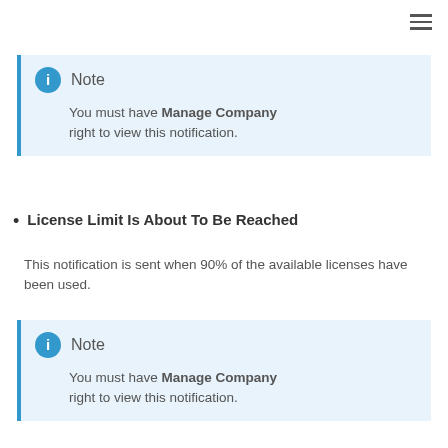[Figure (other): Hamburger menu icon (three horizontal lines) in top right corner]
Note
You must have Manage Company right to view this notification.
License Limit Is About To Be Reached
This notification is sent when 90% of the available licenses have been used.
Note
You must have Manage Company right to view this notification.